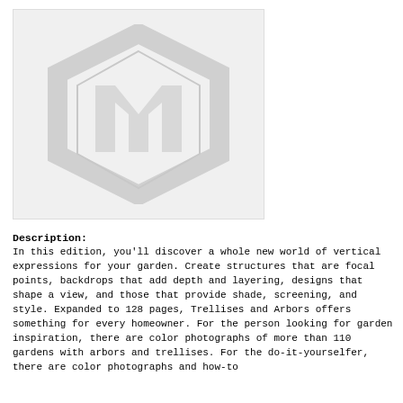[Figure (logo): A placeholder image showing a grey hexagonal logo/icon on a light grey background]
Description:
In this edition, you'll discover a whole new world of vertical expressions for your garden. Create structures that are focal points, backdrops that add depth and layering, designs that shape a view, and those that provide shade, screening, and style. Expanded to 128 pages, Trellises and Arbors offers something for every homeowner. For the person looking for garden inspiration, there are color photographs of more than 110 gardens with arbors and trellises. For the do-it-yourselfer, there are color photographs and how-to